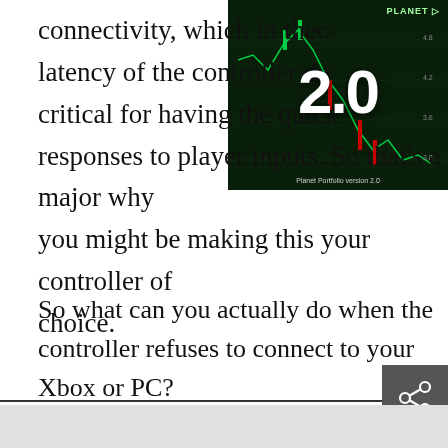connectivity, which in theo latency of the controller du critical for having the quick responses to player inputs. So that's a major why you might be making this your controller of choice.
[Figure (screenshot): Screenshot of a stock trading chart with a large '2.0' overlaid in white text, showing green and red candlestick data. Planet logo visible in top right corner.]
So what can you actually do when the controller refuses to connect to your Xbox or PC?
[Figure (photo): Photo of five Xbox wireless controllers in different colors: yellow-green, blue, black (center), white, and red, arranged side by side on a white surface.]
click to enlarge